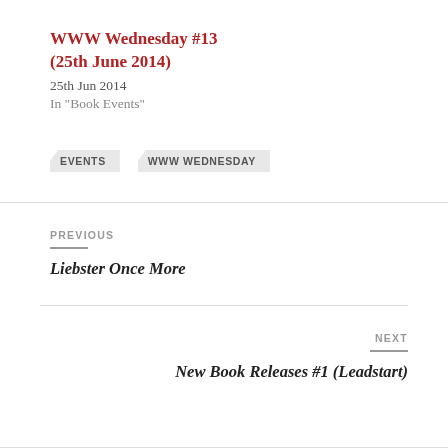WWW Wednesday #13 (25th June 2014)
25th Jun 2014
In "Book Events"
EVENTS
WWW WEDNESDAY
PREVIOUS
Liebster Once More
NEXT
New Book Releases #1 (Leadstart)